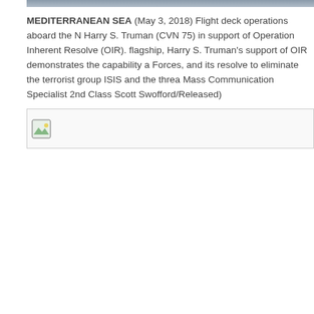MEDITERRANEAN SEA (May 3, 2018) Flight deck operations aboard the Harry S. Truman (CVN 75) in support of Operation Inherent Resolve (OIR). As the flagship, Harry S. Truman's support of OIR demonstrates the capability and Forces, and its resolve to eliminate the terrorist group ISIS and the threat Mass Communication Specialist 2nd Class Scott Swofford/Released)
[Figure (photo): Broken image placeholder icon indicating a missing photograph, shown as a small landscape image icon with green and blue colors, inside a bordered box.]